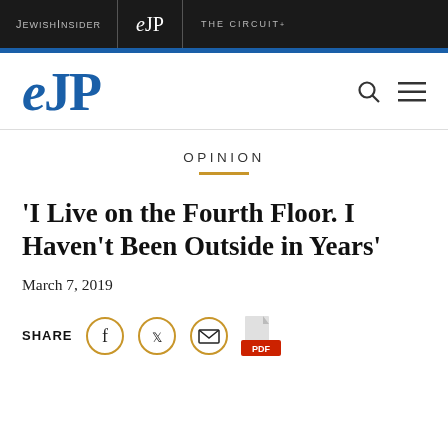JEWISHINSIDER | eJP | THE CIRCUIT+
[Figure (logo): eJP logo in blue with search and menu icons]
OPINION
'I Live on the Fourth Floor. I Haven't Been Outside in Years'
March 7, 2019
SHARE [Facebook] [Twitter] [Email] [PDF]